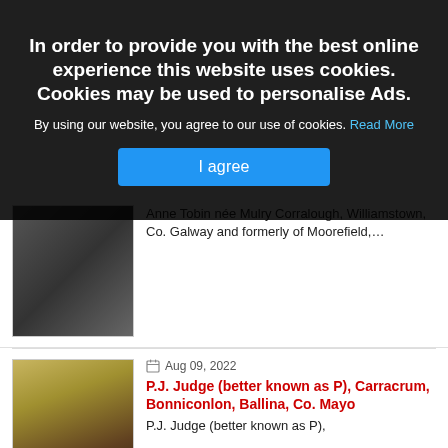[Figure (screenshot): Cookie consent overlay on a website. Dark semi-transparent banner with bold white text: 'In order to provide you with the best online experience this website uses cookies. Cookies may be used to personalise Ads.' followed by 'By using our website, you agree to our use of cookies. Read More' and a blue 'I agree' button.]
Anne Tobin née Mulry Corralough, Williamstown, Co. Galway and formerly of Moorefield,...
Aug 09, 2022
P.J. Judge (better known as P), Carracrum, Bonniconlon, Ballina, Co. Mayo
P.J. Judge (better known as P), Carracrum, Bonniconlon, Ballina, Co. Mayo F26 XA34...